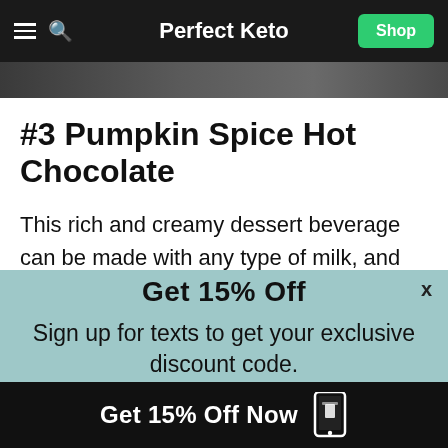Perfect Keto
#3 Pumpkin Spice Hot Chocolate
This rich and creamy dessert beverage can be made with any type of milk, and heavy cream or
Get 15% Off
Sign up for texts to get your exclusive discount code.
By subscribing, you agree to receive recurring automated marketing text messages (e.g. cart reminders) at the phone number provided. Consent is not a condition to purchase. Msg & data rates may apply. Msg frequency varies. Reply HELP for help and STOP to cancel. View our Terms of Service and Privacy Policy.
Get 15% Off Now